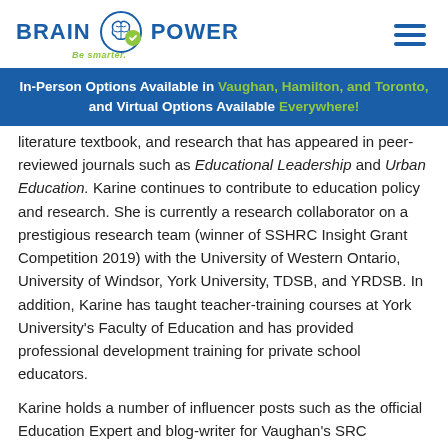BRAIN POWER - Be smarter.
In-Person Options Available in Vaughan, Hamilton, and Toronto, and Virtual Options Available Everywhere!
literature textbook, and research that has appeared in peer-reviewed journals such as Educational Leadership and Urban Education. Karine continues to contribute to education policy and research. She is currently a research collaborator on a prestigious research team (winner of SSHRC Insight Grant Competition 2019) with the University of Western Ontario, University of Windsor, York University, TDSB, and YRDSB. In addition, Karine has taught teacher-training courses at York University's Faculty of Education and has provided professional development training for private school educators.
Karine holds a number of influencer posts such as the official Education Expert and blog-writer for Vaughan's SRC community (20k+ following) and an appointed